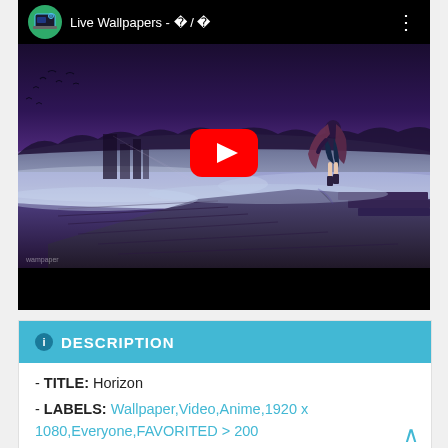[Figure (screenshot): YouTube video player showing a video titled 'Live Wallpapers - ? / ?' with an anime scene of a girl standing on a misty dock/pier with purple atmospheric background, birds in sky, and a red YouTube play button in the center.]
i DESCRIPTION
- TITLE: Horizon
- LABELS: Wallpaper,Video,Anime,1920 x 1080,Everyone,FAVORITED > 200